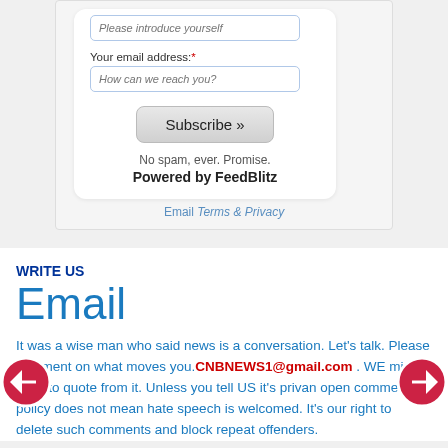Please introduce yourself
Your email address: *
How can we reach you?
Subscribe »
No spam, ever. Promise.
Powered by FeedBlitz
Email Terms & Privacy
WRITE US
Email
It was a wise man who said news is a conversation. Let's talk. Please comment on what moves you.CNBNEWS1@gmail.com . WE might want to quote from it. Unless you tell US it's priva... n open comments policy does not mean hate speech is welcomed. It's our right to delete such comments and block repeat offenders.